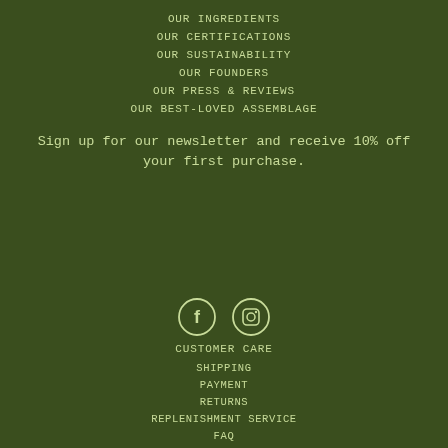OUR INGREDIENTS
OUR CERTIFICATIONS
OUR SUSTAINABILITY
OUR FOUNDERS
OUR PRESS & REVIEWS
OUR BEST-LOVED ASSEMBLAGE
Sign up for our newsletter and receive 10% off your first purchase.
[Figure (other): Facebook and Instagram social media icons in circle outlines]
CUSTOMER CARE
SHIPPING
PAYMENT
RETURNS
REPLENISHMENT SERVICE
FAQ